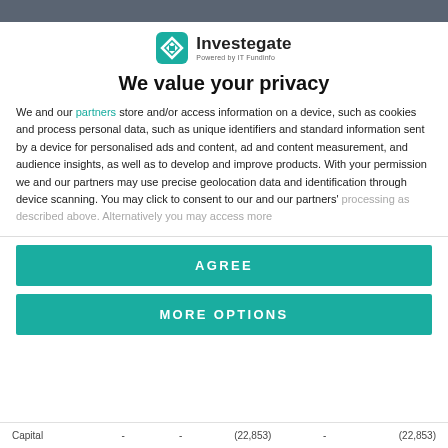[Figure (logo): Investegate logo — teal diamond arrow icon with text 'Investegate' and subtitle 'Powered by IT Fundinfo']
We value your privacy
We and our partners store and/or access information on a device, such as cookies and process personal data, such as unique identifiers and standard information sent by a device for personalised ads and content, ad and content measurement, and audience insights, as well as to develop and improve products. With your permission we and our partners may use precise geolocation data and identification through device scanning. You may click to consent to our and our partners' processing as described above. Alternatively you may access more
AGREE
MORE OPTIONS
|  |  |  |  |  |  |
| --- | --- | --- | --- | --- | --- |
| Capital | - | - | (22,853) | - | (22,853) |